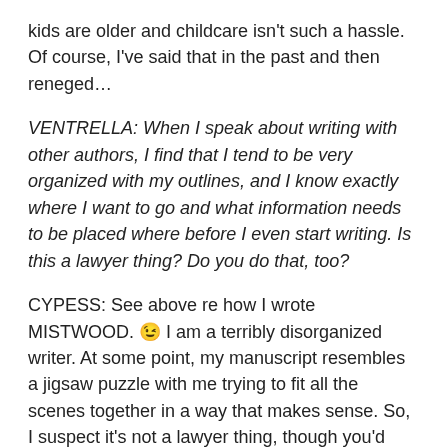kids are older and childcare isn't such a hassle. Of course, I've said that in the past and then reneged…
VENTRELLA: When I speak about writing with other authors, I find that I tend to be very organized with my outlines, and I know exactly where I want to go and what information needs to be placed where before I even start writing. Is this a lawyer thing? Do you do that, too?
CYPESS: See above re how I wrote MISTWOOD. 😉 I am a terribly disorganized writer. At some point, my manuscript resembles a jigsaw puzzle with me trying to fit all the scenes together in a way that makes sense. So, I suspect it's not a lawyer thing, though you'd probably be better off polling lawyers who are still practicing.
VENTRELLA: Do you think a particular style is better or is there a right way to do it?